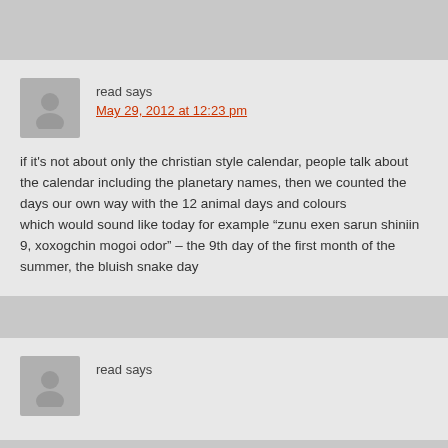read says
May 29, 2012 at 12:23 pm
if it's not about only the christian style calendar, people talk about the calendar including the planetary names, then we counted the days our own way with the 12 animal days and colours
which would sound like today for example “zunu exen sarun shiniin 9, xoxogchin mogoi odor” – the 9th day of the first month of the summer, the bluish snake day
read says